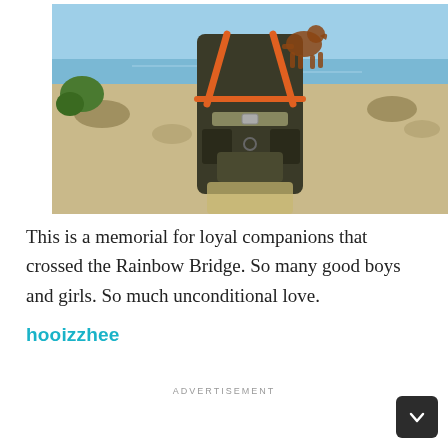[Figure (photo): Photo of a person wearing tactical/military-style gear and harness with orange straps and buckles, standing outdoors near a rocky shoreline with water visible in the background. A rusty metal dog silhouette decoration is attached to the gear.]
This is a memorial for loyal companions that crossed the Rainbow Bridge. So many good boys and girls. So much unconditional love.
hooizzhee
ADVERTISEMENT